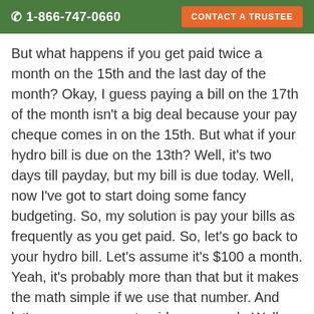☎ 1-866-747-0660 | CONTACT A TRUSTEE
But what happens if you get paid twice a month on the 15th and the last day of the month? Okay, I guess paying a bill on the 17th of the month isn't a big deal because your pay cheque comes in on the 15th. But what if your hydro bill is due on the 13th? Well, it's two days till payday, but my bill is due today. Well, now I've got to start doing some fancy budgeting. So, my solution is pay your bills as frequently as you get paid. So, let's go back to your hydro bill. Let's assume it's $100 a month. Yeah, it's probably more than that but it makes the math simple if we use that number. And let's assume you get paid every week. Well, it's pretty simple you want to pay hydro $25 every week. At the end of four weeks you'll have paid $100 and that's what your bill is every month.
[Figure (other): Chat With Us widget with robot icon]
So, here's how I do it. I go into my online banking and I